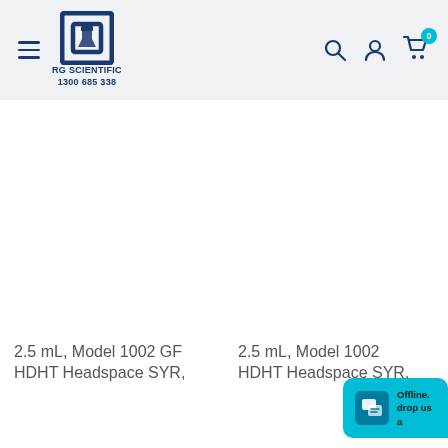RG SCIENTIFIC 1300 685 338
2.5 mL, Model 1002 GF HDHT Headspace SYR,
2.5 mL, Model 1002 HDHT Headspace SYR,
[Figure (screenshot): Live chat widget button with teal background, chat icon, and text 'Offline. drop us a']